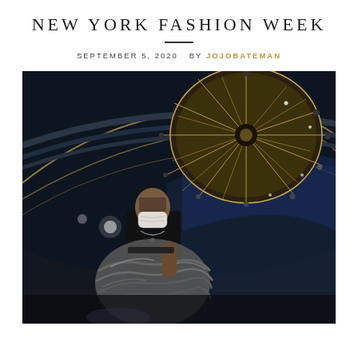NEW YORK FASHION WEEK
SEPTEMBER 5, 2020  BY JOJOBATEMAN
[Figure (photo): Low-angle photograph of a model wearing a white face mask and carrying a large voluminous gray fur coat, shot from below against a dramatic dark ceiling with a large circular starburst chandelier and illuminated architectural details in gold and blue.]